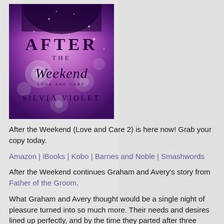[Figure (illustration): Book cover for 'After the Weekend (Love and Care)' by Silvia Violet. Purple/pink bokeh background with sparkles and a silhouette. Title text: AFTER THE Weekend LOVE AND CARE, SILVIA VIOLET]
After the Weekend (Love and Care 2) is here now! Grab your copy today.
Amazon | iBooks | Kobo | Barnes and Noble | Smashwords
After the Weekend continues Graham and Avery’s story from Father of the Groom.
What Graham and Avery thought would be a single night of pleasure turned into so much more. Their needs and desires lined up perfectly, and by the time they parted after three glorious days, they both knew there was far more than just